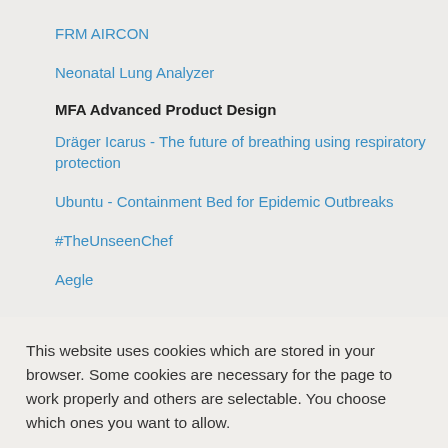FRM AIRCON
Neonatal Lung Analyzer
MFA Advanced Product Design
Dräger Icarus - The future of breathing using respiratory protection
Ubuntu - Containment Bed for Epidemic Outbreaks
#TheUnseenChef
Aegle
This website uses cookies which are stored in your browser. Some cookies are necessary for the page to work properly and others are selectable. You choose which ones you want to allow.
Cookie settings...